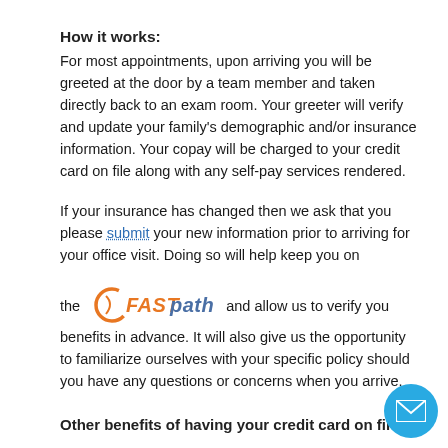How it works:
For most appointments, upon arriving you will be greeted at the door by a team member and taken directly back to an exam room. Your greeter will verify and update your family's demographic and/or insurance information. Your copay will be charged to your credit card on file along with any self-pay services rendered.
If your insurance has changed then we ask that you please submit your new information prior to arriving for your office visit. Doing so will help keep you on the [FASTpath logo] and allow us to verify you benefits in advance. It will also give us the opportunity to familiarize ourselves with your specific policy should you have any questions or concerns when you arrive.
Other benefits of having your credit card on file:
[Figure (logo): FASTpath logo with orange circular swoosh and blue/orange text]